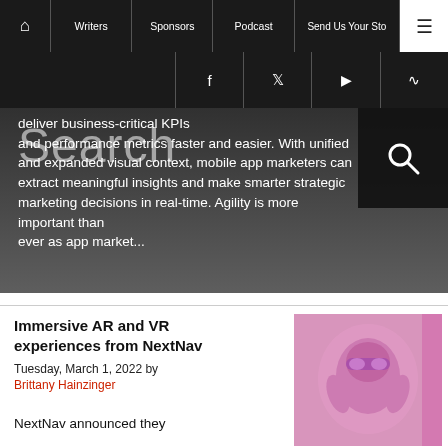Home | Writers | Sponsors | Podcast | Send Us Your Story | Menu
deliver business-critical KPIs and performance metrics faster and easier. With unified and expanded visual context, mobile app marketers can extract meaningful insights and make smarter strategic marketing decisions in real-time. Agility is more important than ever as app market...
Immersive AR and VR experiences from NextNav
Tuesday, March 1, 2022 by Brittany Hainzinger
NextNav announced they